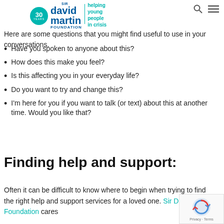[Figure (logo): Sir David Martin Foundation logo with 30 years circle badge, teal divider, and 'helping young people in crisis' tagline]
Here are some questions that you might find useful to use in your conversations.
Have you spoken to anyone about this?
How does this make you feel?
Is this affecting you in your everyday life?
Do you want to try and change this?
I'm here for you if you want to talk (or text) about this at another time. Would you like that?
Finding help and support:
Often it can be difficult to know where to begin when trying to find the right help and support services for a loved one. Sir David Martin Foundation cares